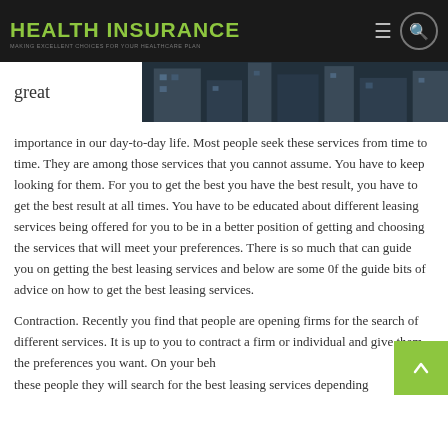HEALTH INSURANCE
[Figure (photo): Dark banner image showing a building or street scene at night/dusk]
great
importance in our day-to-day life. Most people seek these services from time to time. They are among those services that you cannot assume. You have to keep looking for them. For you to get the best you have the best result, you have to get the best result at all times. You have to be educated about different leasing services being offered for you to be in a better position of getting and choosing the services that will meet your preferences. There is so much that can guide you on getting the best leasing services and below are some 0f the guide bits of advice on how to get the best leasing services.
Contraction. Recently you find that people are opening firms for the search of different services. It is up to you to contract a firm or individual and give them the preferences you want. On your behalf these people they will search for the best leasing services depending